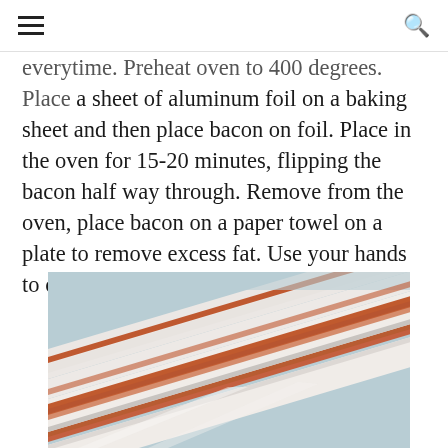≡  🔍
everytime. Preheat oven to 400 degrees. Place a sheet of aluminum foil on a baking sheet and then place bacon on foil. Place in the oven for 15-20 minutes, flipping the bacon half way through. Remove from the oven, place bacon on a paper towel on a plate to remove excess fat. Use your hands to crumble the bacon into small pieces.
[Figure (photo): Raw bacon strips laid flat on a surface, showing white fat and reddish-brown meat striations, viewed close up.]